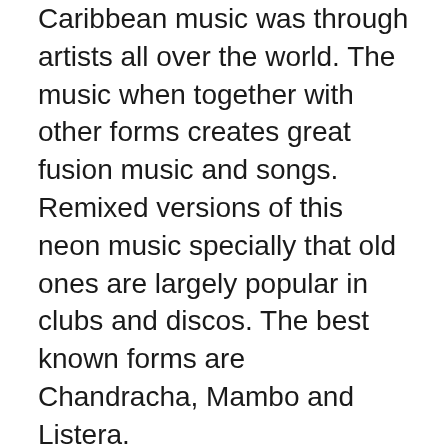Caribbean music was through artists all over the world. The music when together with other forms creates great fusion music and songs. Remixed versions of this neon music specially that old ones are largely popular in clubs and discos. The best known forms are Chandracha, Mambo and Listera.
Prior to reading music, locate may looks via the ordinary for instance odd musical notes, unexpected chords or another type. Highlight may you know will be compelled to research further. Check any terms you don't need an idea of by pricey online music dictionary.
Beyonce Knowles had her lavish party in The Darby restaurant in Chicago. It was filled